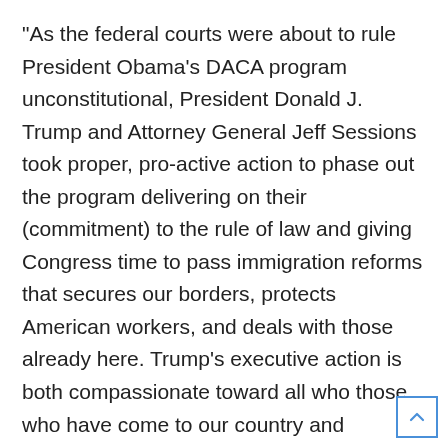“As the federal courts were about to rule President Obama’s DACA program unconstitutional, President Donald J. Trump and Attorney General Jeff Sessions took proper, pro-active action to phase out the program delivering on their (commitment) to the rule of law and giving Congress time to pass immigration reforms that secures our borders, protects American workers, and deals with those already here. Trump’s executive action is both compassionate toward all who those who have come to our country and prevents mass deportations that could have resulted from the impending federal court ruling that could break apart immigrant families. President Trump and his administration continue to focus Homeland Security resources on deporting criminals and visa overstays, and not on children who were brought to this country through no choice of their own.”